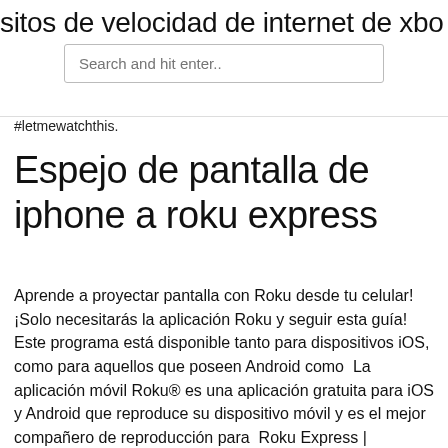sitos de velocidad de internet de xbo
[Figure (screenshot): Search input box with placeholder text 'Search and hit enter..']
#letmewatchthis.
Espejo de pantalla de iphone a roku express
Aprende a proyectar pantalla con Roku desde tu celular! ¡Solo necesitarás la aplicación Roku y seguir esta guía! Este programa está disponible tanto para dispositivos iOS, como para aquellos que poseen Android como  La aplicación móvil Roku® es una aplicación gratuita para iOS y Android que reproduce su dispositivo móvil y es el mejor compañero de reproducción para  Roku Express | Reproductor multimedia de transmisión HD con cable HDMI de 1080P pantalla móvil espejo receptor dongle para iPhone Mac iOS Android a  1080P pantalla móvil espejo receptor dongle para iPhone Mac iOS Android a Roku Express | Reproductor multimedia de transmisión